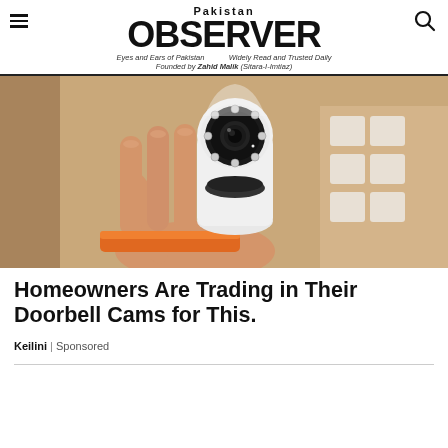Pakistan OBSERVER — Eyes and Ears of Pakistan | Widely Read and Trusted Daily | Founded by Zahid Malik (Sitara-I-Imtiaz)
[Figure (photo): A hand holding a small white dome-style security/surveillance camera with IR LEDs around the lens, photographed against a brown cardboard box background.]
Homeowners Are Trading in Their Doorbell Cams for This.
Keilini | Sponsored